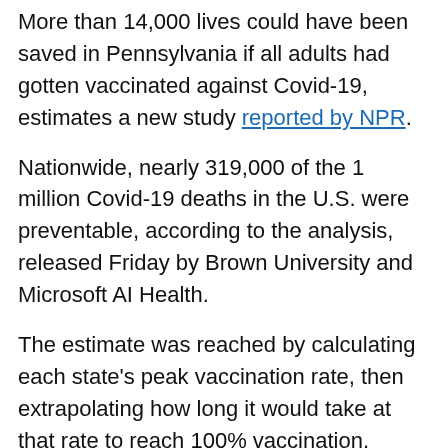More than 14,000 lives could have been saved in Pennsylvania if all adults had gotten vaccinated against Covid-19, estimates a new study reported by NPR.
Nationwide, nearly 319,000 of the 1 million Covid-19 deaths in the U.S. were preventable, according to the analysis, released Friday by Brown University and Microsoft AI Health.
The estimate was reached by calculating each state's peak vaccination rate, then extrapolating how long it would take at that rate to reach 100% vaccination.